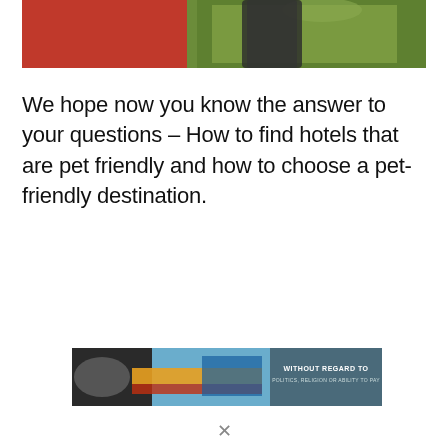[Figure (photo): Top portion of an image showing a dog (dark/black) standing on green grass with a red object on the left side of the frame]
We hope now you know the answer to your questions – How to find hotels that are pet friendly and how to choose a pet-friendly destination.
[Figure (photo): Advertisement banner showing an airplane being loaded with cargo on the left side, and a dark teal panel on the right with text 'WITHOUT REGARD TO POLITICS, RELIGION OR ABILITY TO PAY']